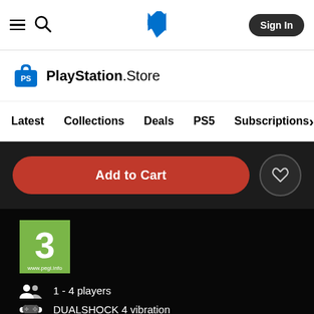[Figure (screenshot): PlayStation Store website screenshot showing navigation bar with hamburger menu, search icon, PlayStation logo, and Sign In button]
[Figure (logo): PlayStation Store logo with shopping bag icon]
Latest   Collections   Deals   PS5   Subscriptions >
Add to Cart
[Figure (logo): PEGI 3 age rating badge]
1 - 4 players
DUALSHOCK 4 vibration